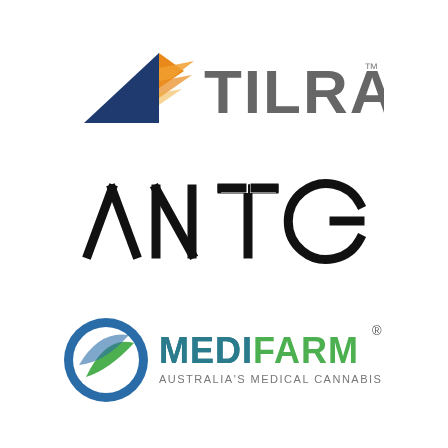[Figure (logo): Tilray logo: dark blue and orange triangular arrow icon pointing left with rays, next to 'TILRAY' in large bold grey sans-serif text with trademark symbol]
[Figure (logo): ANTG logo: stylized angular sans-serif text 'ANTG' in black with geometric cut letterforms]
[Figure (logo): Medifarm logo: circular blue and green globe/leaf icon next to 'MEDIFARM' in teal/green bold text with registered trademark, subtitle 'AUSTRALIA'S MEDICAL CANNABIS' in smaller grey text]